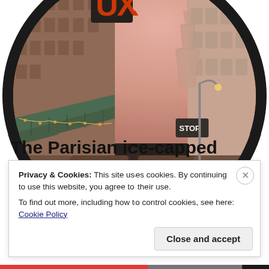[Figure (photo): Circular-cropped photograph of a Parisian street scene with Haussmann-style buildings, cafe awnings with string lights, a neon sign reading 'UX', and the Eiffel Tower visible in the background against a pink-toned sky. The circle is framed by a thick black border.]
The Parisian ice-capped mountains through
Privacy & Cookies: This site uses cookies. By continuing to use this website, you agree to their use.
To find out more, including how to control cookies, see here: Cookie Policy